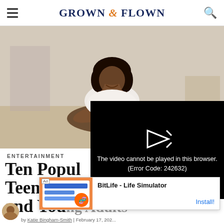GROWN & FLOWN
[Figure (photo): Woman lying on floor looking at smartphone, indoor setting with soft natural light]
[Figure (screenshot): Video player overlay with error message: The video cannot be played in this browser. (Error Code: 242632)]
ENTERTAINMENT
Ten Popul... Teens, Co... and Young Adults
[Figure (screenshot): Ad overlay for BitLife - Life Simulator app with Install button]
by Katie Bingham-Smith | February 17, 202...